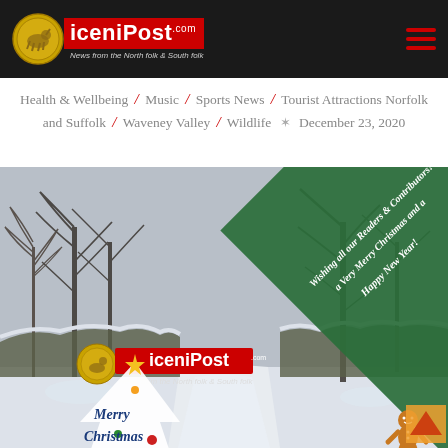iceniPost - News from the North folk & South folk
Health & Wellbeing / Music / Sports News / Tourist Attractions Norfolk and Suffolk / Waveney Valley / Wildlife * December 23, 2020
[Figure (photo): iceniPost Christmas card image: snowy winter path with bare trees, featuring iceniPost logo, Merry Christmas text on white tree graphic, and green banner reading 'Wishing all our Readers & Contributors a Very Merry Christmas and a Happy New Year!']